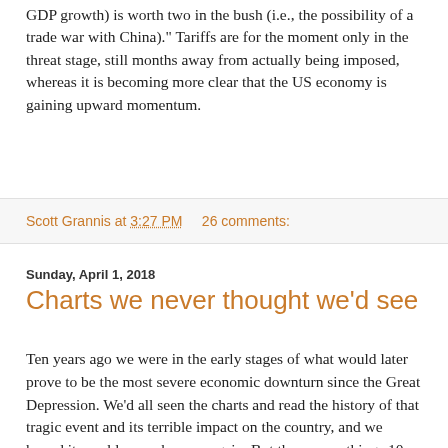GDP growth) is worth two in the bush (i.e., the possibility of a trade war with China)." Tariffs are for the moment only in the threat stage, still months away from actually being imposed, whereas it is becoming more clear that the US economy is gaining upward momentum.
Scott Grannis at 3:27 PM    26 comments:
Sunday, April 1, 2018
Charts we never thought we'd see
Ten years ago we were in the early stages of what would later prove to be the most severe economic downturn since the Great Depression. We'd all seen the charts and read the history of that tragic event and its terrible impact on the country, and we hoped it would never happen again. But there were things 10 years ago that we never expected to see, which later unfolded to our lasting astonishment. Here are just a handful of charts, which I offer to remind us of the amazing economic and financial developments of the past decade that have come to surprise us into utter disbelieving